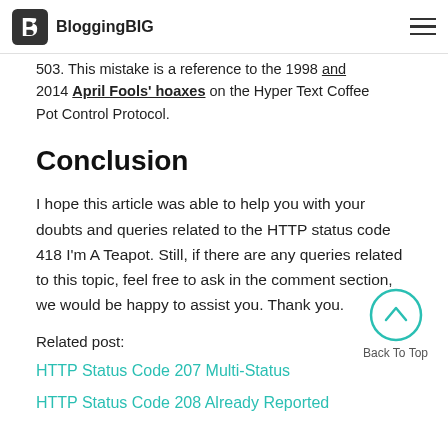BloggingBIG
503. This mistake is a reference to the 1998 and 2014 April Fools' hoaxes on the Hyper Text Coffee Pot Control Protocol.
Conclusion
I hope this article was able to help you with your doubts and queries related to the HTTP status code 418 I'm A Teapot. Still, if there are any queries related to this topic, feel free to ask in the comment section, we would be happy to assist you. Thank you.
Related post:
HTTP Status Code 207 Multi-Status
HTTP Status Code 208 Already Reported